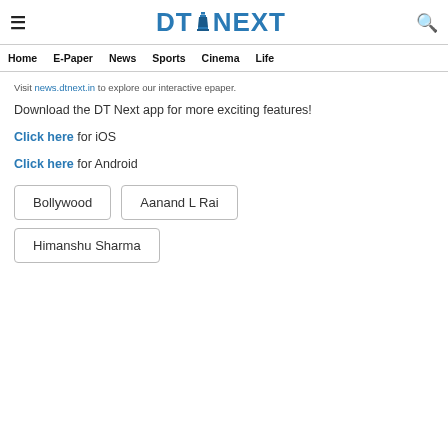DT NEXT
Home  E-Paper  News  Sports  Cinema  Life
Visit news.dtnext.in to explore our interactive epaper.
Download the DT Next app for more exciting features!
Click here for iOS
Click here for Android
Bollywood
Aanand L Rai
Himanshu Sharma